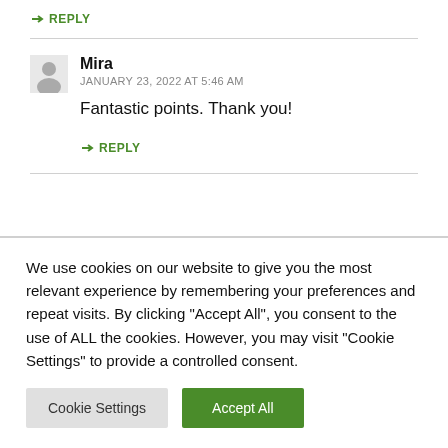↳ REPLY
Mira
JANUARY 23, 2022 AT 5:46 AM
Fantastic points. Thank you!
↳ REPLY
We use cookies on our website to give you the most relevant experience by remembering your preferences and repeat visits. By clicking "Accept All", you consent to the use of ALL the cookies. However, you may visit "Cookie Settings" to provide a controlled consent.
Cookie Settings | Accept All